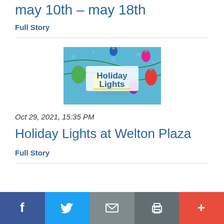may 10th - may 18th
Full Story
[Figure (illustration): Holiday Lights at Welton Plaza promotional banner with colorful Christmas light bulbs on a light blue background]
Oct 29, 2021, 15:35 PM
Holiday Lights at Welton Plaza
Full Story
Facebook | Twitter | Email | Print | More